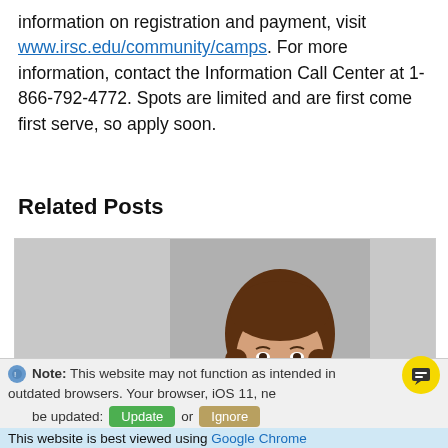information on registration and payment, visit www.irsc.edu/community/camps. For more information, contact the Information Call Center at 1-866-792-4772. Spots are limited and are first come first serve, so apply soon.
Related Posts
[Figure (photo): Portrait photo of a young woman with long brown hair, smiling, wearing a white top, against a grey background]
Note: This website may not function as intended in outdated browsers. Your browser, iOS 11, needs to be updated: Update or Ignore
This website is best viewed using Google Chrome